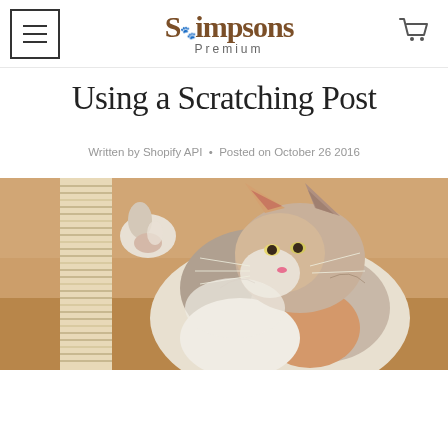Simpsons Premium
Using a Scratching Post
Written by Shopify API • Posted on October 26 2016
[Figure (photo): A long-haired calico cat scratching at a sisal rope scratching post, photographed against a warm brown blurred background.]